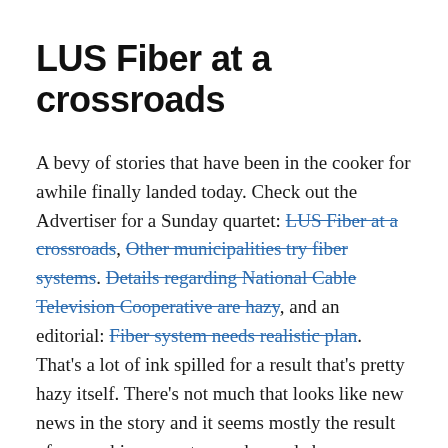LUS Fiber at a crossroads
A bevy of stories that have been in the cooker for awhile finally landed today. Check out the Advertiser for a Sunday quartet: LUS Fiber at a crossroads, Other municipalities try fiber systems. Details regarding National Cable Television Cooperative are hazy, and an editorial: Fiber system needs realistic plan. That's a lot of ink spilled for a result that's pretty hazy itself. There's not much that looks like new news in the story and it seems mostly the result of researching recent remarks made by a councilman or two and insistence